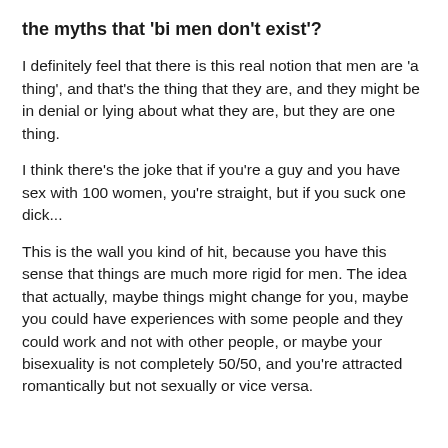the myths that 'bi men don't exist'?
I definitely feel that there is this real notion that men are 'a thing', and that's the thing that they are, and they might be in denial or lying about what they are, but they are one thing.
I think there's the joke that if you're a guy and you have sex with 100 women, you're straight, but if you suck one dick...
This is the wall you kind of hit, because you have this sense that things are much more rigid for men. The idea that actually, maybe things might change for you, maybe you could have experiences with some people and they could work and not with other people, or maybe your bisexuality is not completely 50/50, and you're attracted romantically but not sexually or vice versa.